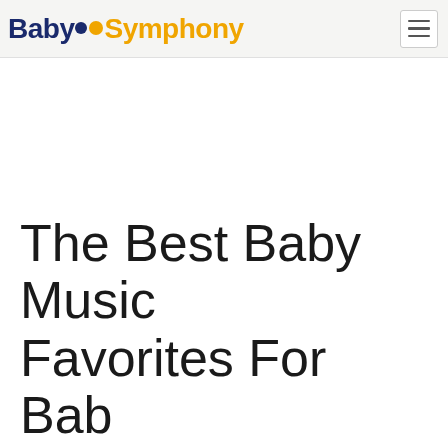BabySymphony
The Best Baby Music Favorites For Bab...